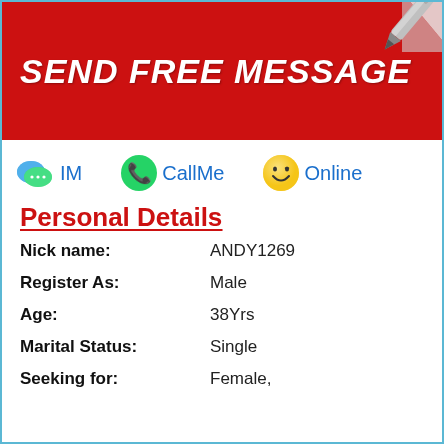[Figure (infographic): Red banner with white bold italic text 'SEND FREE MESSAGE' and a pen/pencil in the top-right corner]
IM   CallMe   Online
Personal Details
| Nick name: | ANDY1269 |
| Register As: | Male |
| Age: | 38Yrs |
| Marital Status: | Single |
| Seeking for: | Female, |